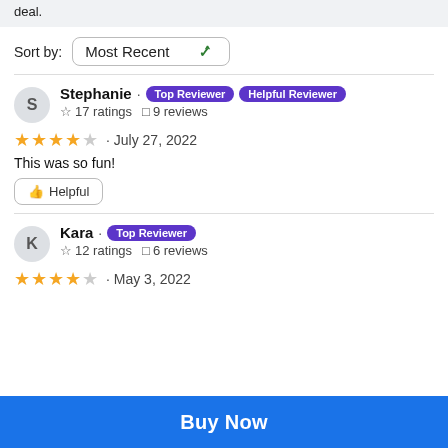deal.
Sort by: Most Recent
Stephanie · Top Reviewer · Helpful Reviewer
☆ 17 ratings  ☐ 9 reviews
★★★★☆ · July 27, 2022
This was so fun!
👍 Helpful
Kara · Top Reviewer
☆ 12 ratings  ☐ 6 reviews
★★★★☆ · May 3, 2022
Buy Now